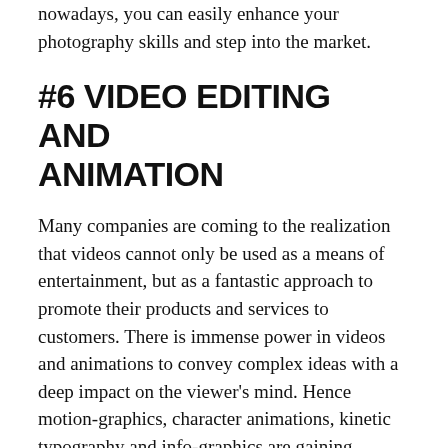nowadays, you can easily enhance your photography skills and step into the market.
#6 VIDEO EDITING AND ANIMATION
Many companies are coming to the realization that videos cannot only be used as a means of entertainment, but as a fantastic approach to promote their products and services to customers. There is immense power in videos and animations to convey complex ideas with a deep impact on the viewer's mind. Hence motion-graphics, character animations, kinetic typography and info-graphics are gaining popularity in becoming one of the most popular forms of advertising.